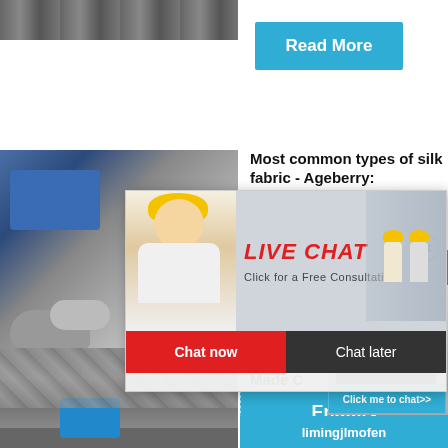[Figure (photo): Top portion of industrial machinery, partially visible]
Read More
[Figure (photo): Mining/crushing machinery with blue equipment and rocks]
Most common types of silk fabric - Ageberry:
[Figure (infographic): Live Chat overlay with person in yellow hard hat. Text: LIVE CHAT, Click for a Free Consultation. Buttons: Chat now, Chat later. Background shows workers in yellow hard hats.]
hour online
[Figure (photo): Cone crusher industrial equipment, white and grey with red band and black base]
Click me to chat>>
[Figure (photo): Bottom left: quarry/mining site with blue machinery]
What is Made C Crest U
Enquiry
limingjlmofen